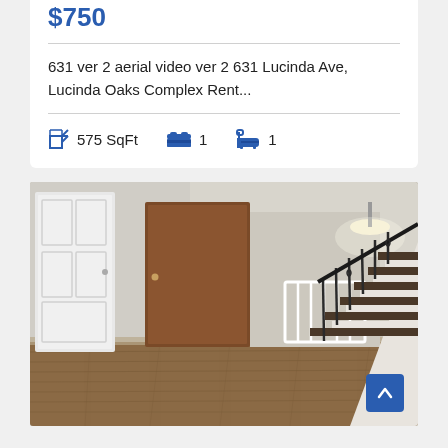$750
631 ver 2 aerial video ver 2 631 Lucinda Ave, Lucinda Oaks Complex Rent...
575 SqFt   1   1
[Figure (photo): Interior photo of an apartment unit showing a brown door on the left, white walls, ceiling light, wood laminate flooring, a staircase with wrought iron railing on the right, and a white baby crib/gate in the background center.]